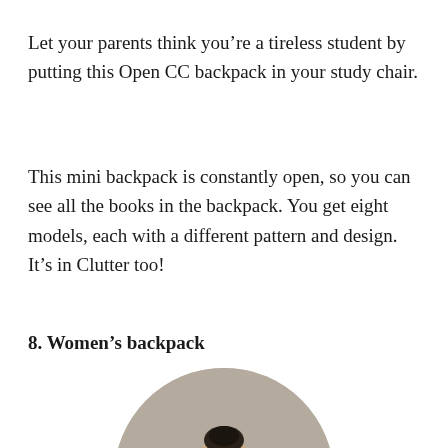Let your parents think you’re a tireless student by putting this Open CC backpack in your study chair.
This mini backpack is constantly open, so you can see all the books in the backpack. You get eight models, each with a different pattern and design. It’s in Clutter too!
8. Women’s backpack
[Figure (photo): Circular cropped photo of a person from behind wearing a lavender/lilac ribbed sweater and a backpack, shown from shoulders up with dark hair in a bun, against a warm grey/taupe circular background.]